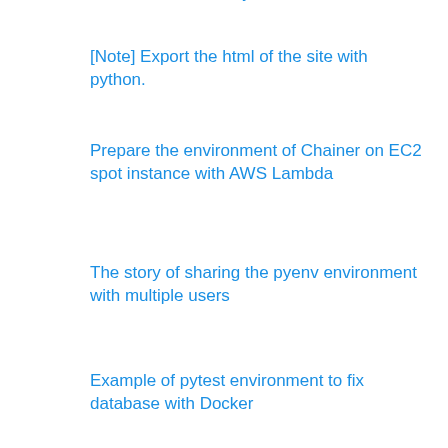environment with anyenv
[Note] Export the html of the site with python.
Prepare the environment of Chainer on EC2 spot instance with AWS Lambda
The story of sharing the pyenv environment with multiple users
Example of pytest environment to fix database with Docker
Install Ubuntu 20.04 with GUI and prepare the development environment
Specify the project name of docker-compose with Docker